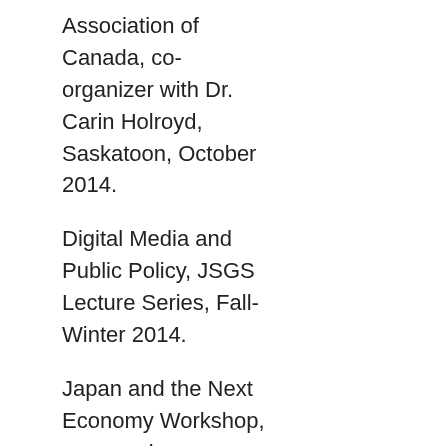Association of Canada, co-organizer with Dr. Carin Holroyd, Saskatoon, October 2014.
Digital Media and Public Policy, JSGS Lecture Series, Fall-Winter 2014.
Japan and the Next Economy Workshop, co-organizer